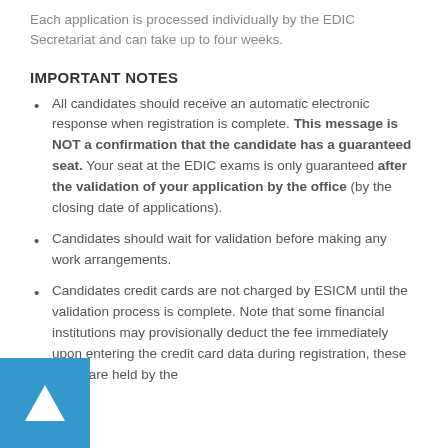Each application is processed individually by the EDIC Secretariat and can take up to four weeks.
IMPORTANT NOTES
All candidates should receive an automatic electronic response when registration is complete. This message is NOT a confirmation that the candidate has a guaranteed seat. Your seat at the EDIC exams is only guaranteed after the validation of your application by the office (by the closing date of applications).
Candidates should wait for validation before making any work arrangements.
Candidates credit cards are not charged by ESICM until the validation process is complete. Note that some financial institutions may provisionally deduct the fee immediately upon entering the credit card data during registration, these funds are held by the
[Figure (logo): Blue square icon with white triangle/arrow pointing up]